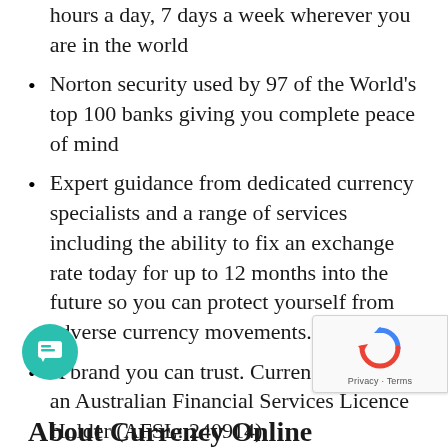hours a day, 7 days a week wherever you are in the world
Norton security used by 97 of the World's top 100 banks giving you complete peace of mind
Expert guidance from dedicated currency specialists and a range of services including the ability to fix an exchange rate today for up to 12 months into the future so you can protect yourself from adverse currency movements.
A brand you can trust. Currency Online is an Australian Financial Services Licence Holder (AFSL: 240914).
[Figure (illustration): Teal circular chat bubble icon in bottom-left corner]
[Figure (logo): Google reCAPTCHA badge with Privacy and Terms links in bottom-right corner]
About Currency Online